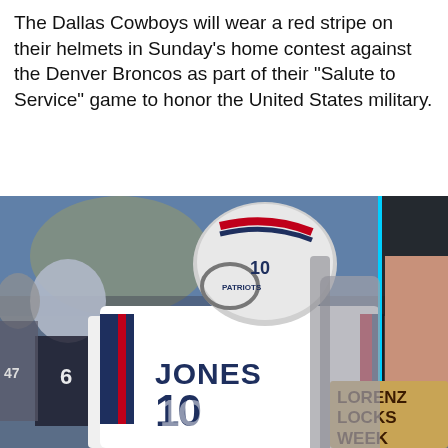The Dallas Cowboys will wear a red stripe on their helmets in Sunday's home contest against the Denver Broncos as part of their "Salute to Service" game to honor the United States military.
[Figure (photo): NFL player wearing New England Patriots jersey number 10 with name JONES on the back, white helmet with Patriots logo visible. Player appears to be on the sideline. Partially visible text on a sign reading LORENZ LOCKS WEEK.]